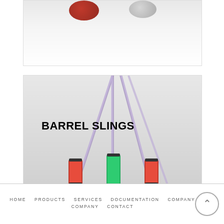[Figure (photo): Partial view of circular objects (red and grey/white) against a white background, top portion of a product image]
[Figure (photo): Barrel slings product image showing three rope/sling assemblies with red, green, and red protective sleeves at the bottom, purple braided ropes extending upward, with bold text 'BARREL SLINGS' overlaid on the left side]
HOME   PRODUCTS   SERVICES   DOCUMENTATION   COMPANY   CONTACT